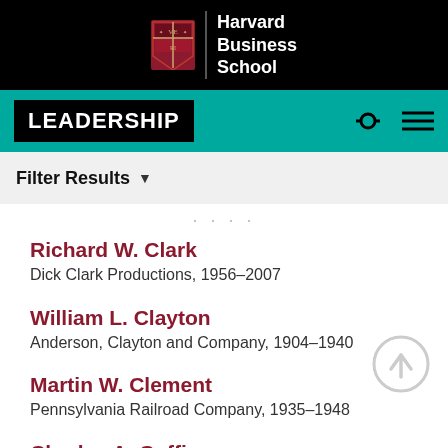[Figure (logo): Harvard Business School shield logo with text 'Harvard Business School' on black background]
LEADERSHIP
Filter Results ▼
Richard W. Clark
Dick Clark Productions, 1956–2007
William L. Clayton
Anderson, Clayton and Company, 1904–1940
Martin W. Clement
Pennsylvania Railroad Company, 1935–1948
Charles A. Coffin